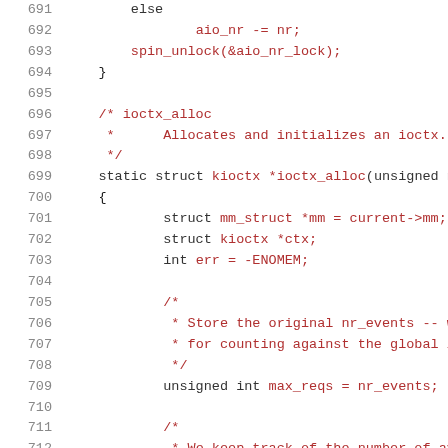Source code listing lines 691-712, C kernel code for ioctx_alloc function